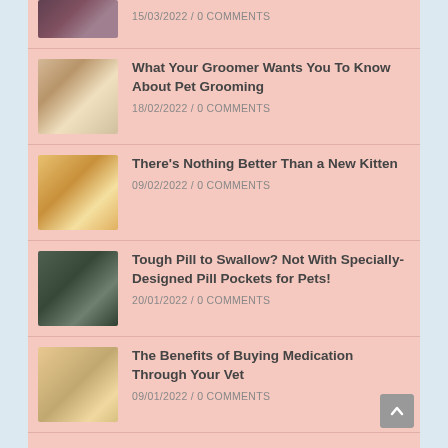[Figure (photo): Partial blog entry at top showing a cropped pet photo and date 15/03/2022 / 0 COMMENTS]
[Figure (photo): Dog being groomed with shower head, wet golden dog]
What Your Groomer Wants You To Know About Pet Grooming
18/02/2022 / 0 COMMENTS
[Figure (photo): Orange tabby kitten sitting looking at camera]
There’s Nothing Better Than a New Kitten
09/02/2022 / 0 COMMENTS
[Figure (photo): Tabby cat with green eyes being given a pill]
Tough Pill to Swallow? Not With Specially-Designed Pill Pockets for Pets!
20/01/2022 / 0 COMMENTS
[Figure (photo): Golden retriever puppy lying down next to an orange medicine bottle]
The Benefits of Buying Medication Through Your Vet
09/01/2022 / 0 COMMENTS